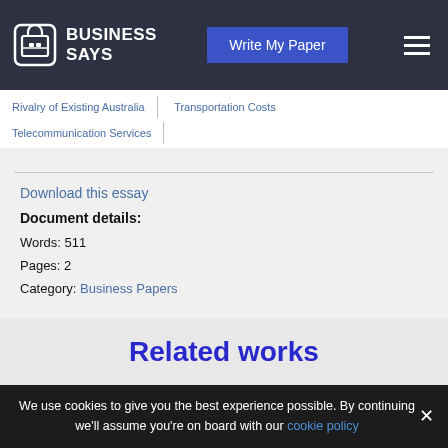BUSINESS SAYS | Write My Paper
Rivalry of Existing Australia
Transportation Costs
Telecommunication Services
Download this essay
Document details:
Words: 511
Pages: 2
Category: Business Papers
Related works
The growth for eth... the UK has risen
We use cookies to give you the best experience possible. By continuing we'll assume you're on board with our cookie policy